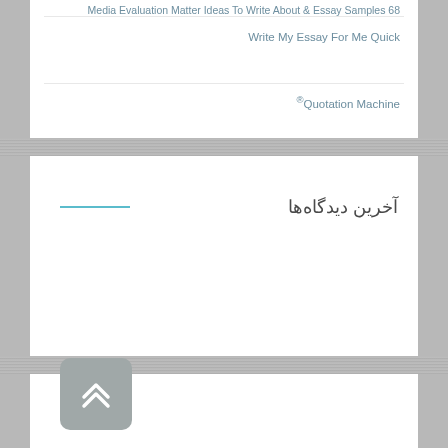Media Evaluation Matter Ideas To Write About & Essay Samples 68
Write My Essay For Me Quick
®Quotation Machine
آخرین دیدگاه‌ها
[Figure (other): Back to top button with double chevron upward arrow icon, grey rounded square background]